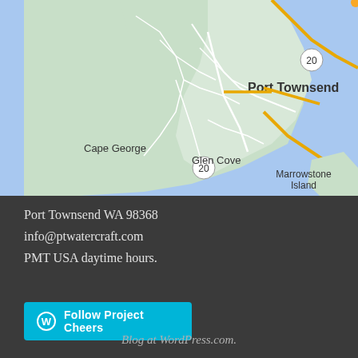[Figure (map): Google Maps screenshot showing Port Townsend, WA area including Cape George, Glen Cove, Marrowstone Island, Townsend Bay, with highway 20 marked]
Port Townsend WA 98368
info@ptwatercraft.com
PMT USA daytime hours.
[Figure (other): Follow Project Cheers button with WordPress icon]
Blog at WordPress.com.